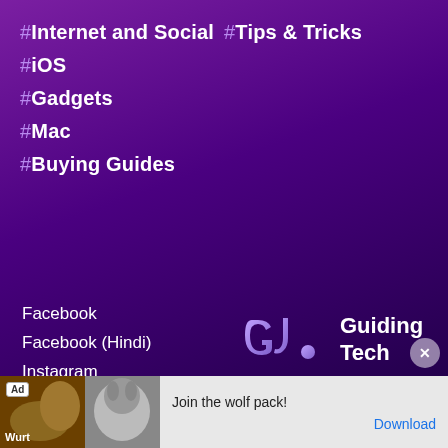#Internet and Social
#Tips & Tricks
#iOS
#Gadgets
#Mac
#Buying Guides
Facebook
Facebook (Hindi)
Instagram
Instagram (Hindi)
YouTube
YouTube (Hindi)
Twit...
Twit...
[Figure (logo): Guiding Tech logo - stylized 'Gt' letters in light purple on dark purple background, with 'Guiding Tech' text in bold white]
About
Contact
Terms of Use
Privacy Policy
[Figure (photo): Advertisement banner showing wolf pack images with text 'Join the wolf pack!' and a Download link]